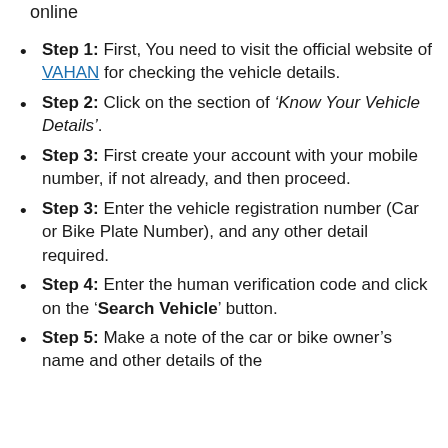online
Step 1: First, You need to visit the official website of VAHAN for checking the vehicle details.
Step 2: Click on the section of ‘Know Your Vehicle Details’.
Step 3: First create your account with your mobile number, if not already, and then proceed.
Step 3: Enter the vehicle registration number (Car or Bike Plate Number), and any other detail required.
Step 4: Enter the human verification code and click on the ‘Search Vehicle’ button.
Step 5: Make a note of the car or bike owner’s name and other details of the